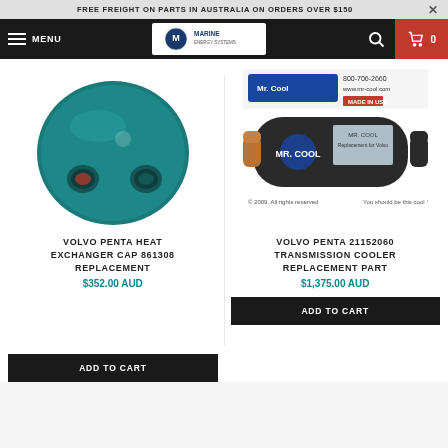FREE FREIGHT ON PARTS IN AUSTRALIA ON ORDERS OVER $150
[Figure (screenshot): Marine Energy Systems navigation bar with hamburger menu, logo, search icon, and cart icon]
[Figure (photo): Teal/green circular heat exchanger cap with two port openings]
VOLVO PENTA HEAT EXCHANGER CAP 861308 REPLACEMENT
$352.00 AUD
[Figure (photo): Mr. Cool replacement transmission cooler for Volvo Penta part 872626, cylindrical black unit with copper fittings]
VOLVO PENTA 21152060 TRANSMISSION COOLER REPLACEMENT PART
$1,375.00 AUD